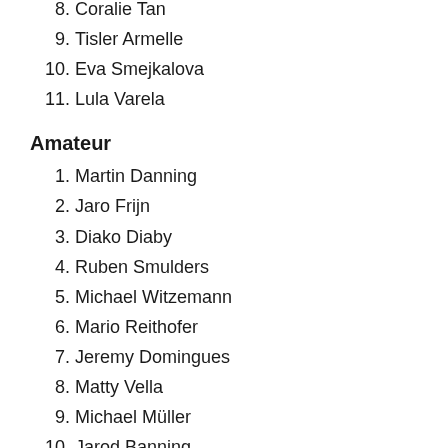8. Coralie Tan
9. Tisler Armelle
10. Eva Smejkalova
11. Lula Varela
Amateur
1. Martin Danning
2. Jaro Frijn
3. Diako Diaby
4. Ruben Smulders
5. Michael Witzemann
6. Mario Reithofer
7. Jeremy Domingues
8. Matty Vella
9. Michael Müller
10. Jarod Banning
11. Xavi Alcazar
12. Justas Karcauskas
13. Julien Lemoine
14. Lennert Goormans